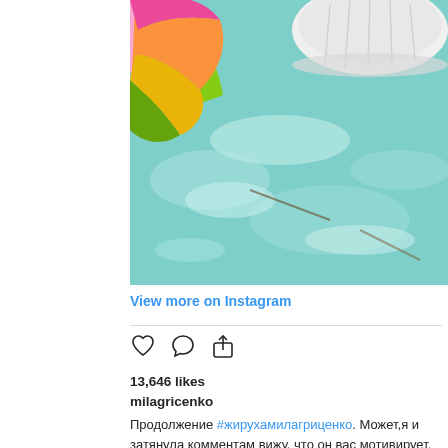[Figure (photo): Instagram post photo showing colorful inflatable pool floats (rainbow colored ring on left, white inflatable on upper right) floating in a bright turquoise/green pool with sunlit water reflections.]
View more on Instagram
[Figure (other): Instagram action icons: heart (like), speech bubble (comment), share/upload arrow]
13,646 likes
milagricenko
Продолжение #жирухамилагриценко. Может,я и затянула комментам вижу, что он вас мотивирует. Все рано или поз полнейшей жопе,но мало кто об этом пишет. Да о чем я... фотки до пластики и всех убеждают,что тонкий нос им дал...